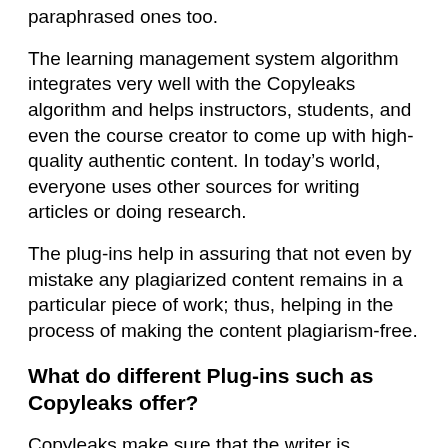paraphrased ones too.
The learning management system algorithm integrates very well with the Copyleaks algorithm and helps instructors, students, and even the course creator to come up with high-quality authentic content. In today’s world, everyone uses other sources for writing articles or doing research.
The plug-ins help in assuring that not even by mistake any plagiarized content remains in a particular piece of work; thus, helping in the process of making the content plagiarism-free.
What do different Plug-ins such as Copyleaks offer?
Copyleaks make sure that the writer is publishing original content and helps the writer, educator or the students to get involved in any illegal acts such